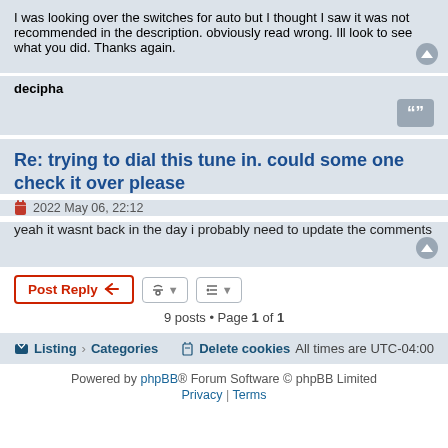I was looking over the switches for auto but I thought I saw it was not recommended in the description. obviously read wrong. Ill look to see what you did. Thanks again.
decipha
Re: trying to dial this tune in. could some one check it over please
2022 May 06, 22:12
yeah it wasnt back in the day i probably need to update the comments
9 posts • Page 1 of 1
Listing · Categories    Delete cookies    All times are UTC-04:00
Powered by phpBB® Forum Software © phpBB Limited
Privacy | Terms